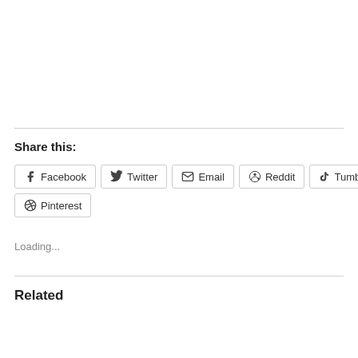Share this:
Facebook  Twitter  Email  Reddit  Tumblr  Pinterest
Loading...
Related